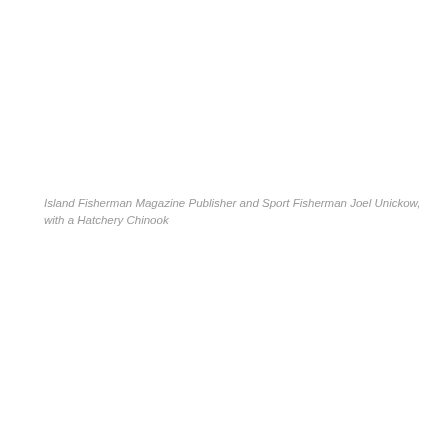Island Fisherman Magazine Publisher and Sport Fisherman Joel Unickow, with a Hatchery Chinook